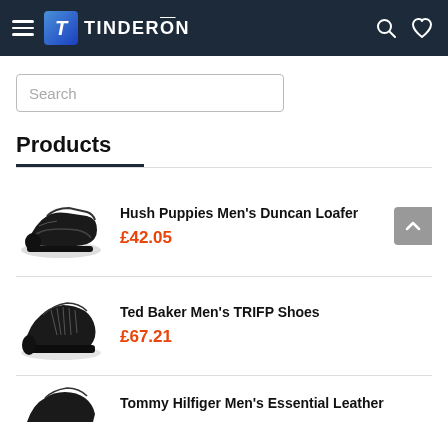TINDERON
Search
Products
[Figure (photo): Hush Puppies Men's Duncan Loafer - black chunky sole loafer shoe]
Hush Puppies Men’s Duncan Loafer
£42.05
[Figure (photo): Ted Baker Men's TRIFP Shoes - black oxford lace-up dress shoe]
Ted Baker Men’s TRIFP Shoes
£67.21
Tommy Hilfiger Men’s Essential Leather